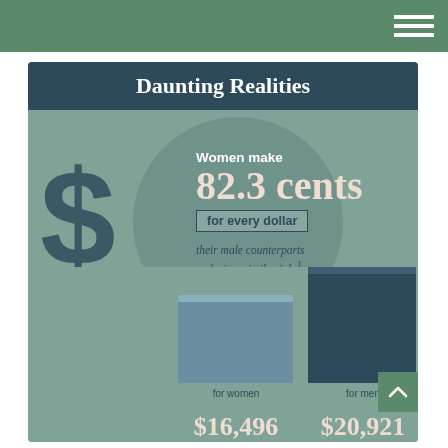Daunting Realities
Women make 82.3 cents for every dollar their male counterparts make in a similar job.¹
Average Social Security benefits per year:²
[Figure (bar-chart): Average Social Security benefits per year]